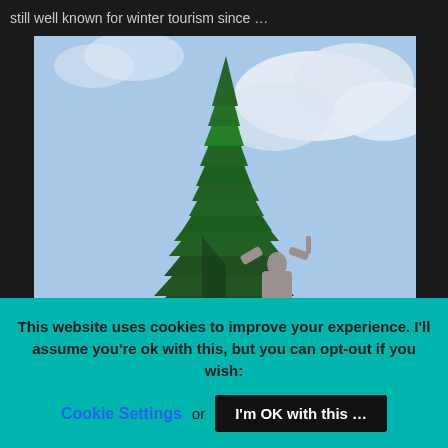still well known for winter tourism since …
[Figure (photo): Outdoor photograph showing a tall evergreen tree against a partly cloudy blue sky, with a stone statue of a figure with raised arms visible in the lower right portion of the image.]
This website uses cookies to improve your experience. I'll assume you're ok with this, but you can opt-out if you wish:
Cookie Settings  or  I'm OK with this …